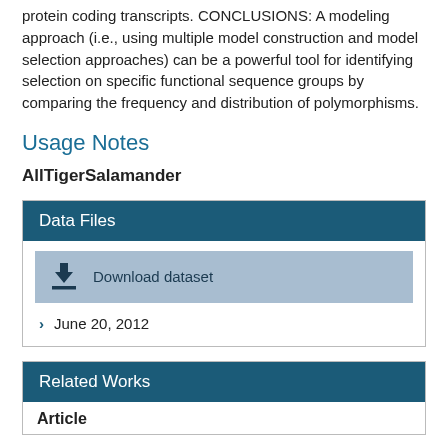protein coding transcripts. CONCLUSIONS: A modeling approach (i.e., using multiple model construction and model selection approaches) can be a powerful tool for identifying selection on specific functional sequence groups by comparing the frequency and distribution of polymorphisms.
Usage Notes
AllTigerSalamander
Data Files
Download dataset
June 20, 2012
Related Works
Article